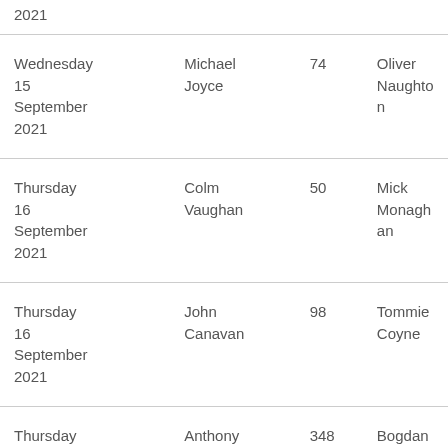| Date | Name | Number | Nominee |
| --- | --- | --- | --- |
| 2021 |  |  |  |
| Wednesday 15 September 2021 | Michael Joyce | 74 | Oliver Naughton |
| Thursday 16 September 2021 | Colm Vaughan | 50 | Mick Monaghan |
| Thursday 16 September 2021 | John Canavan | 98 | Tommie Coyne |
| Thursday 16 September 2021 | Anthony Walshe | 348 | Bogdan Matei |